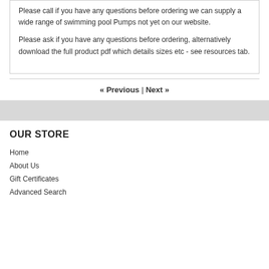Please call if you have any questions before ordering we can supply a wide range of swimming pool Pumps not yet on our website.
Please ask if you have any questions before ordering, alternatively download the full product pdf which details sizes etc - see resources tab.
« Previous | Next »
OUR STORE
Home
About Us
Gift Certificates
Advanced Search